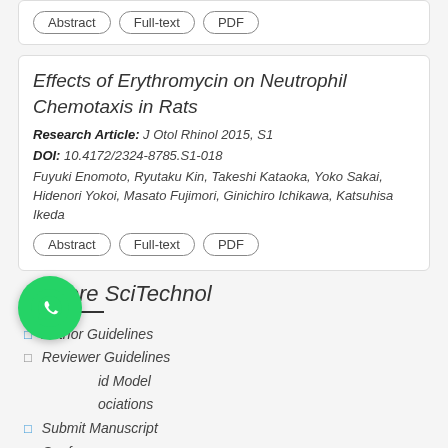Abstract | Full-text | PDF
Effects of Erythromycin on Neutrophil Chemotaxis in Rats
Research Article: J Otol Rhinol 2015, S1
DOI: 10.4172/2324-8785.S1-018
Fuyuki Enomoto, Ryutaku Kin, Takeshi Kataoka, Yoko Sakai, Hidenori Yokoi, Masato Fujimori, Ginichiro Ichikawa, Katsuhisa Ikeda
Abstract | Full-text | PDF
Explore SciTechnol
Author Guidelines
Reviewer Guidelines
Open Access / Hybrid Model
Associations
Submit Manuscript
Conferences